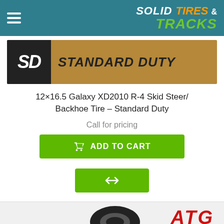Solid Tires & Tracks
[Figure (logo): SD Standard Duty product banner with dark SD logo letters on left and brown background with STANDARD DUTY text]
12×16.5 Galaxy XD2010 R-4 Skid Steer/Backhoe Tire - Standard Duty
Call for pricing
ADD TO CART
[Figure (screenshot): Bottom section showing ATG logo in red italic text, partial tire image, and PayPal payment button bar in blue gradient with PayPal P icon]